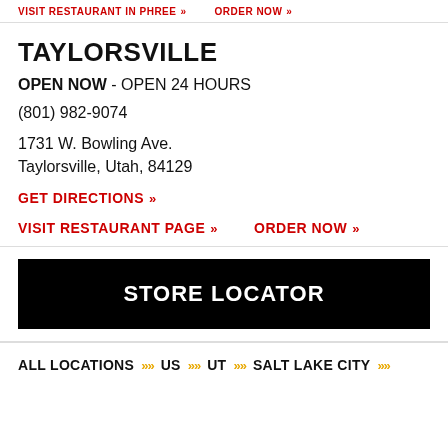VISIT RESTAURANT PAGE >> ORDER NOW >>
TAYLORSVILLE
OPEN NOW - OPEN 24 HOURS
(801) 982-9074
1731 W. Bowling Ave.
Taylorsville, Utah, 84129
GET DIRECTIONS >>
VISIT RESTAURANT PAGE >> ORDER NOW >>
STORE LOCATOR
ALL LOCATIONS >> US >> UT >> SALT LAKE CITY >>